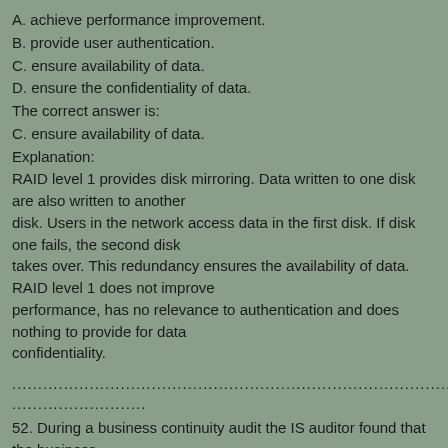A. achieve performance improvement.
B. provide user authentication.
C. ensure availability of data.
D. ensure the confidentiality of data.
The correct answer is:
C. ensure availability of data.
Explanation:
RAID level 1 provides disk mirroring. Data written to one disk are also written to another disk. Users in the network access data in the first disk. If disk one fails, the second disk takes over. This redundancy ensures the availability of data. RAID level 1 does not improve performance, has no relevance to authentication and does nothing to provide for data confidentiality.
...................................................................................................
..........................
52. During a business continuity audit the IS auditor found that the business continuity plan (BCP) covered only critical processes. The IS auditor should: